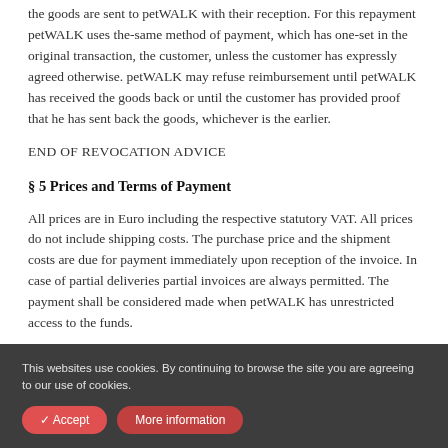the goods are sent to petWALK with their reception. For this repayment petWALK uses the-same method of payment, which has one-set in the original transaction, the customer, unless the customer has expressly agreed otherwise. petWALK may refuse reimbursement until petWALK has received the goods back or until the customer has provided proof that he has sent back the goods, whichever is the earlier.
END OF REVOCATION ADVICE
§ 5 Prices and Terms of Payment
All prices are in Euro including the respective statutory VAT. All prices do not include shipping costs. The purchase price and the shipment costs are due for payment immediately upon reception of the invoice. In case of partial deliveries partial invoices are always permitted. The payment shall be considered made when petWALK has unrestricted access to the funds.
This websites use cookies. By continuing to browse the site you are agreeing to our use of cookies.